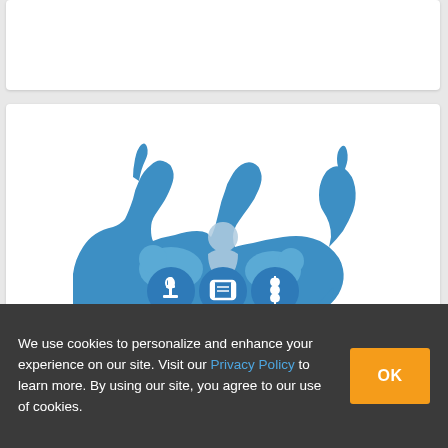[Figure (logo): American Society of Animal Science logo — blue silhouettes of a horse and a bull facing each other with a sheep, pig, and poultry in between; a human figure in the center; three blue circular icons below showing a microscope, a diploma/scroll, and a wheat sheaf; text below reads AMERICAN SOCIETY OF ANIMAL SCIENCE]
We use cookies to personalize and enhance your experience on our site. Visit our Privacy Policy to learn more. By using our site, you agree to our use of cookies.